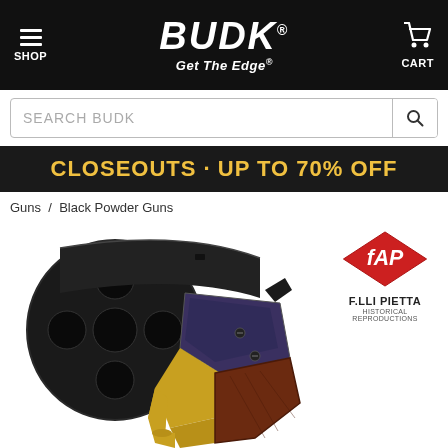BUDK Get The Edge — SHOP | CART
SEARCH BUDK
CLOSEOUTS · UP TO 70% OFF
Guns / Black Powder Guns
[Figure (photo): Close-up photo of a black powder percussion revolver (F.LLI Pietta historical reproduction) showing the cylinder from the front with five chambers visible, along with a brass frame and wooden grip. The F.LLI Pietta diamond logo is visible in the upper right.]